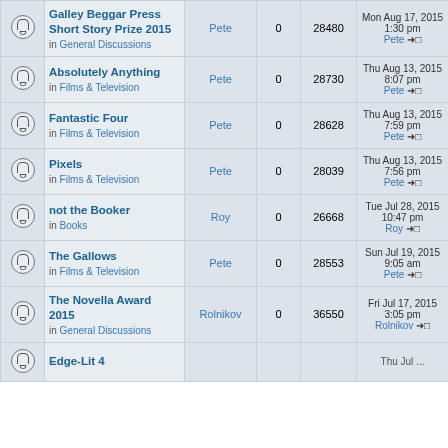|  | Topic | Author | Replies | Views | Last post |
| --- | --- | --- | --- | --- | --- |
| [bell] | Galley Beggar Press Short Story Prize 2015 in General Discussions | Pete | 0 | 28480 | Mon Aug 17, 2015 1:30 pm Pete → |
| [bell] | Absolutely Anything in Films & Television | Pete | 0 | 28730 | Thu Aug 13, 2015 8:07 pm Pete → |
| [bell] | Fantastic Four in Films & Television | Pete | 0 | 28628 | Thu Aug 13, 2015 7:59 pm Pete → |
| [bell] | Pixels in Films & Television | Pete | 0 | 28039 | Thu Aug 13, 2015 7:56 pm Pete → |
| [bell] | not the Booker in Books | Roy | 0 | 26668 | Tue Jul 28, 2015 10:47 pm Roy → |
| [bell] | The Gallows in Films & Television | Pete | 0 | 28553 | Sun Jul 19, 2015 9:05 am Pete → |
| [bell] | The Novella Award 2015 in General Discussions | Rolnikov | 0 | 36550 | Fri Jul 17, 2015 3:05 pm Rolnikov → |
| [bell] | Edge-Lit 4 | ... | ... | ... | Thu Jul ... |